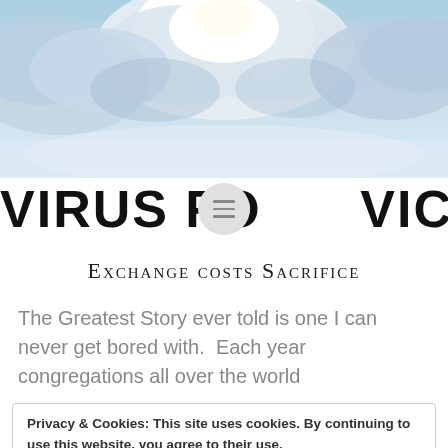[Figure (photo): Dramatic sky with large white and grey clouds against a blue background, sunlight breaking through.]
VIRUS FO VICTORY
Exchange costs Sacrifice
The Greatest Story ever told is one I can never get bored with.  Each year congregations all over the world
Privacy & Cookies: This site uses cookies. By continuing to use this website, you agree to their use.
To find out more, including how to control cookies, see here: Cookie Policy
Close and accept